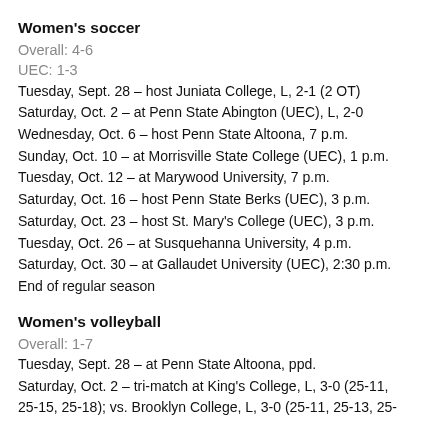Women's soccer
Overall: 4-6
UEC: 1-3
Tuesday, Sept. 28 – host Juniata College, L, 2-1 (2 OT)
Saturday, Oct. 2 – at Penn State Abington (UEC), L, 2-0
Wednesday, Oct. 6 – host Penn State Altoona, 7 p.m.
Sunday, Oct. 10 – at Morrisville State College (UEC), 1 p.m.
Tuesday, Oct. 12 – at Marywood University, 7 p.m.
Saturday, Oct. 16 – host Penn State Berks (UEC), 3 p.m.
Saturday, Oct. 23 – host St. Mary's College (UEC), 3 p.m.
Tuesday, Oct. 26 – at Susquehanna University, 4 p.m.
Saturday, Oct. 30 – at Gallaudet University (UEC), 2:30 p.m.
End of regular season
Women's volleyball
Overall: 1-7
Tuesday, Sept. 28 – at Penn State Altoona, ppd.
Saturday, Oct. 2 – tri-match at King's College, L, 3-0 (25-11, 25-15, 25-18); vs. Brooklyn College, L, 3-0 (25-11, 25-13, 25-